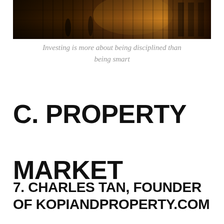[Figure (photo): Dark moody photo of an industrial or urban scene with a fence/grating structure, warm orange-brown tones, people silhouettes visible in background]
Investing is more about being disciplined than being smart
C. PROPERTY MARKET
7. CHARLES TAN, FOUNDER OF KOPIANDPROPERTY.COM